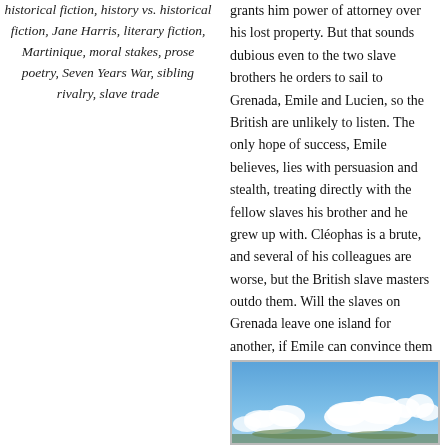historical fiction, history vs. historical fiction, Jane Harris, literary fiction, Martinique, moral stakes, prose poetry, Seven Years War, sibling rivalry, slave trade
grants him power of attorney over his lost property. But that sounds dubious even to the two slave brothers he orders to sail to Grenada, Emile and Lucien, so the British are unlikely to listen. The only hope of success, Emile believes, lies with persuasion and stealth, treating directly with the fellow slaves his brother and he grew up with. Cléophas is a brute, and several of his colleagues are worse, but the British slave masters outdo them. Will the slaves on Grenada leave one island for another, if Emile can convince them that servitude on Martinique will be better?
[Figure (photo): Photo of blue sky with white clouds and a hint of land or island at the bottom]